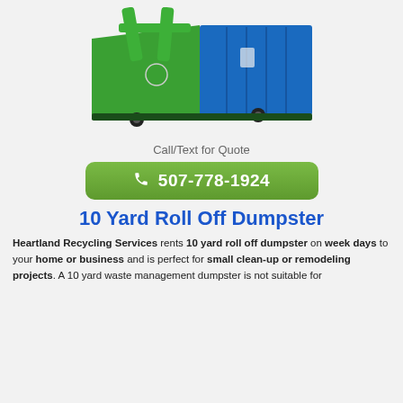[Figure (photo): A green and blue roll-off dumpster container photographed on a white background]
Call/Text for Quote
[Figure (other): Green rounded button with phone icon and number 507-778-1924]
10 Yard Roll Off Dumpster
Heartland Recycling Services rents 10 yard roll off dumpster on week days to your home or business and is perfect for small clean-up or remodeling projects. A 10 yard waste management dumpster is not suitable for